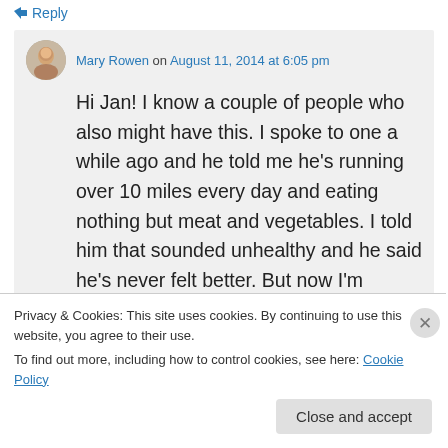↳ Reply
Mary Rowen on August 11, 2014 at 6:05 pm
Hi Jan! I know a couple of people who also might have this. I spoke to one a while ago and he told me he's running over 10 miles every day and eating nothing but meat and vegetables. I told him that sounded unhealthy and he said he's never felt better. But now I'm wondering if I should talk to
Privacy & Cookies: This site uses cookies. By continuing to use this website, you agree to their use.
To find out more, including how to control cookies, see here: Cookie Policy